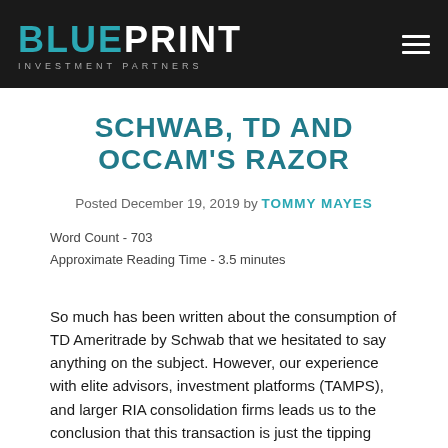BLUEPRINT INVESTMENT PARTNERS
SCHWAB, TD AND OCCAM'S RAZOR
Posted December 19, 2019 by TOMMY MAYES
Word Count - 703
Approximate Reading Time - 3.5 minutes
So much has been written about the consumption of TD Ameritrade by Schwab that we hesitated to say anything on the subject. However, our experience with elite advisors, investment platforms (TAMPS), and larger RIA consolidation firms leads us to the conclusion that this transaction is just the tipping point